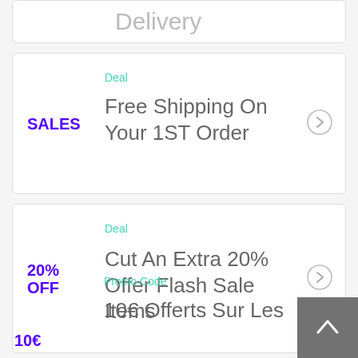Delivery
Deal
SALES
Free Shipping On Your 1ST Order
Deal
20% OFF
Cut An Extra 20% Offer Flash Sale Items
Promo Code
10€ Offerts Sur Les
10€